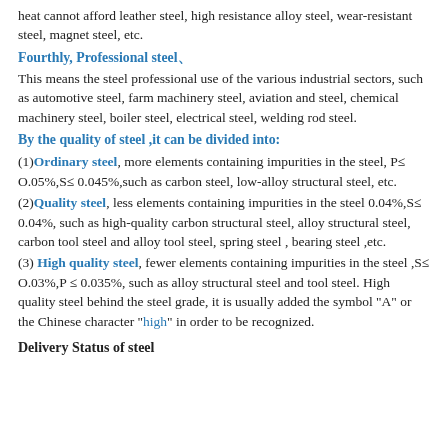heat cannot afford leather steel, high resistance alloy steel, wear-resistant steel, magnet steel, etc.
Fourthly, Professional steel、
This means the steel professional use of the various industrial sectors, such as automotive steel, farm machinery steel, aviation and steel, chemical machinery steel, boiler steel, electrical steel, welding rod steel.
By the quality of steel ,it can be divided into:
(1) Ordinary steel, more elements containing impurities in the steel, P≤ O.05%,S≤ 0.045%,such as carbon steel, low-alloy structural steel, etc.
(2) Quality steel, less elements containing impurities in the steel 0.04%,S≤ 0.04%, such as high-quality carbon structural steel, alloy structural steel, carbon tool steel and alloy tool steel, spring steel , bearing steel ,etc.
(3) High quality steel, fewer elements containing impurities in the steel ,S≤ O.03%,P ≤ 0.035%, such as alloy structural steel and tool steel. High quality steel behind the steel grade, it is usually added the symbol "A" or the Chinese character "high" in order to be recognized.
Delivery Status of steel